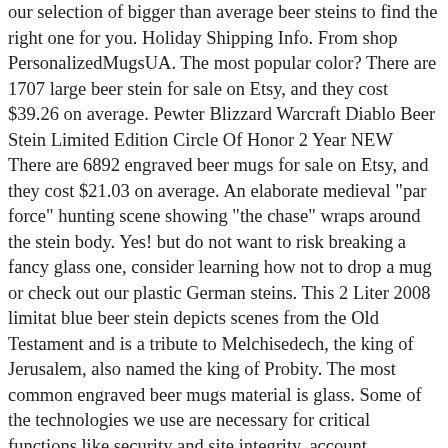our selection of bigger than average beer steins to find the right one for you. Holiday Shipping Info. From shop PersonalizedMugsUA. The most popular color? There are 1707 large beer stein for sale on Etsy, and they cost $39.26 on average. Pewter Blizzard Warcraft Diablo Beer Stein Limited Edition Circle Of Honor 2 Year NEW There are 6892 engraved beer mugs for sale on Etsy, and they cost $21.03 on average. An elaborate medieval "par force" hunting scene showing "the chase" wraps around the stein body. Yes! but do not want to risk breaking a fancy glass one, consider learning how not to drop a mug or check out our plastic German steins. This 2 Liter 2008 limitat blue beer stein depicts scenes from the Old Testament and is a tribute to Melchisedech, the king of Jerusalem, also named the king of Probity. The most common engraved beer mugs material is glass. Some of the technologies we use are necessary for critical functions like security and site integrity, account authentication, security and privacy preferences, internal site usage and maintenance data, and to make the site work correctly for browsing and transactions. Below we discuss